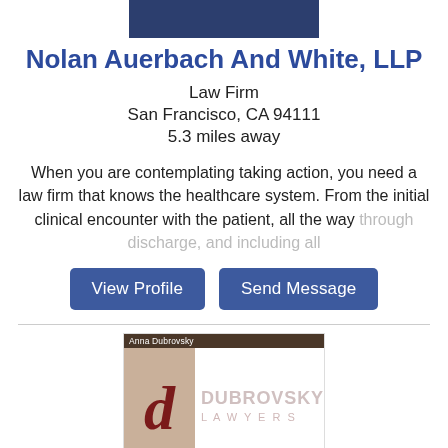[Figure (logo): Dark navy blue rectangular logo bar at the top]
Nolan Auerbach And White, LLP
Law Firm
San Francisco, CA 94111
5.3 miles away
When you are contemplating taking action, you need a law firm that knows the healthcare system. From the initial clinical encounter with the patient, all the way through discharge, and including all
[Figure (logo): Anna Dubrovsky Law Group, Inc. logo with cursive letter D on beige background and text DUBROVSKY LAWYERS]